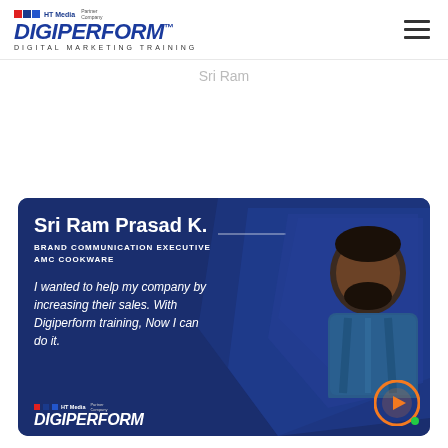HT Media Partner Company | DIGIPERFORM™ | DIGITAL MARKETING TRAINING
Sri Ram
[Figure (infographic): Testimonial card with dark blue background showing Sri Ram Prasad K., Brand Communication Executive at AMC Cookware, with quote about Digiperform training helping increase company sales. Includes person photo on right side and DigiPerform logo at bottom. Orange circular icon in bottom right corner.]